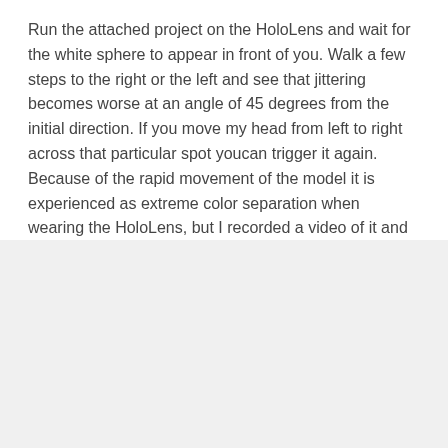Run the attached project on the HoloLens and wait for the white sphere to appear in front of you. Walk a few steps to the right or the left and see that jittering becomes worse at an angle of 45 degrees from the initial direction. If you move my head from left to right across that particular spot youcan trigger it again. Because of the rapid movement of the model it is experienced as extreme color separation when wearing the HoloLens, but I recorded a video of it and that showed that model quickly slides away and then comes
By clicking “Accept All Cookies”, you agree to the storing of cookies on your device to enhance site navigation, analyze site usage, and assist in our marketing efforts.
Cookies Settings
Accept All Cookies